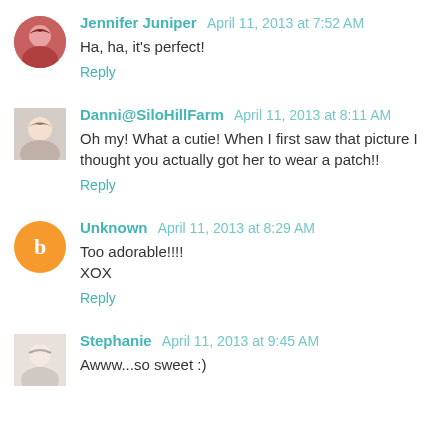Jennifer Juniper  April 11, 2013 at 7:52 AM
Ha, ha, it's perfect!
Reply
Danni@SiloHillFarm  April 11, 2013 at 8:11 AM
Oh my! What a cutie! When I first saw that picture I thought you actually got her to wear a patch!!
Reply
Unknown  April 11, 2013 at 8:29 AM
Too adorable!!!!
XOX
Reply
Stephanie  April 11, 2013 at 9:45 AM
Awww...so sweet :)